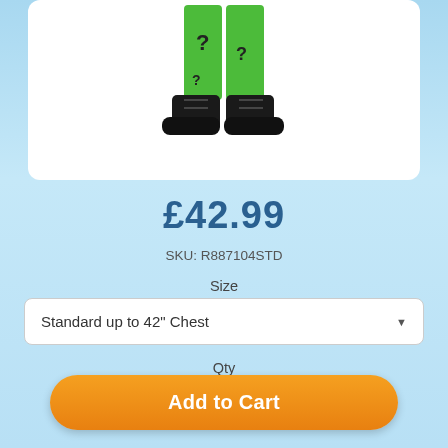[Figure (photo): Partial view of a costume figure wearing green pants with question mark pattern and black boots, shown from legs down, on a white background within a rounded rectangle card.]
£42.99
SKU: R887104STD
Size
Standard up to 42" Chest
Qty
1
Add to Cart